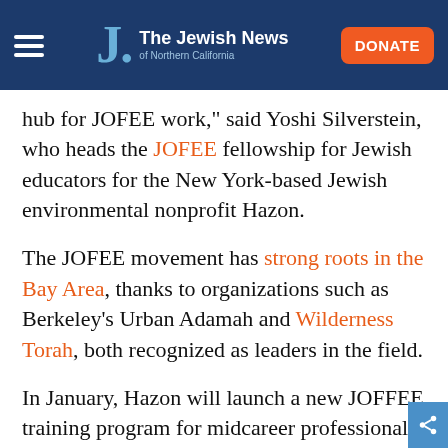The Jewish News of Northern California — DONATE
hub for JOFEE work," said Yoshi Silverstein, who heads the JOFEE fellowship for Jewish educators for the New York-based Jewish environmental nonprofit Hazon.
The JOFEE movement has strong roots in the Bay Area, thanks to organizations such as Berkeley's Urban Adamah and Wilderness Torah, both recognized as leaders in the field.
In January, Hazon will launch a new JOFFEE training program for midcareer professionals. The new JOFEE Leaders Institute is designed to help people who are already established in Jewish non